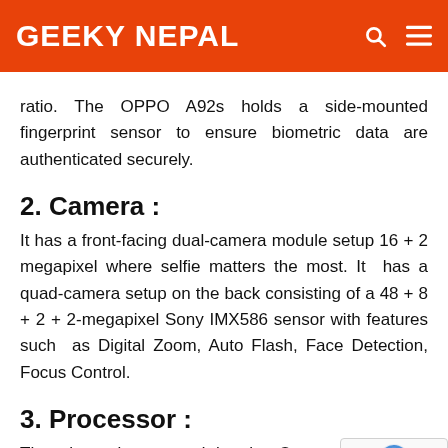GEEKY NEPAL
ratio. The OPPO A92s holds a side-mounted fingerprint sensor to ensure biometric data are authenticated securely.
2. Camera :
It has a front-facing dual-camera module setup 16 + 2 megapixel where selfie matters the most. It has a quad-camera setup on the back consisting of a 48 + 8 + 2 + 2-megapixel Sony IMX586 sensor with features such as Digital Zoom, Auto Flash, Face Detection, Focus Control.
3. Processor :
The phone is powered by the Octa-core (2 GHz, Quad-